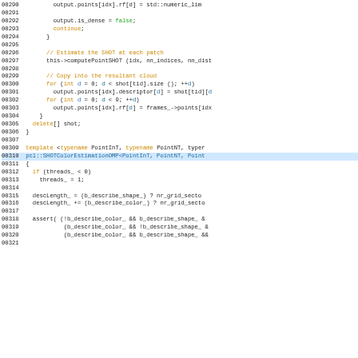Source code listing: SHOTColorEstimationOMP, lines 00290-00321